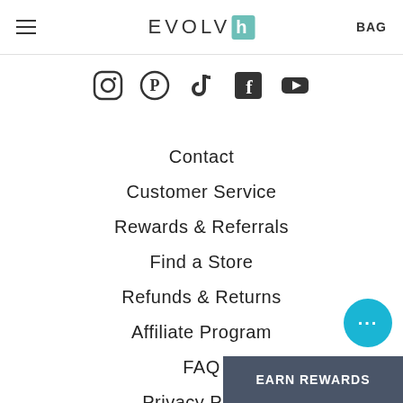EVOLVH | BAG
[Figure (other): Social media icons row: Instagram, Pinterest, TikTok, Facebook, YouTube]
Contact
Customer Service
Rewards & Referrals
Find a Store
Refunds & Returns
Affiliate Program
FAQ
Privacy Policy
Terms of Servi...
[Figure (other): Chat bubble button with ellipsis icon]
EARN REWARDS